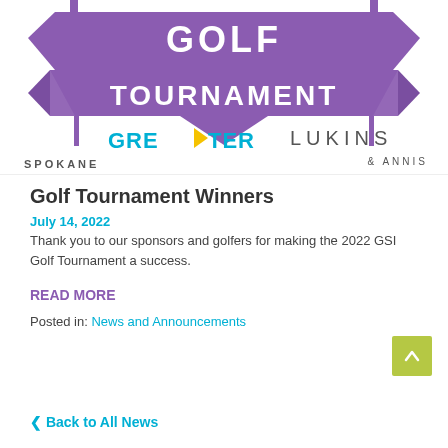[Figure (illustration): Purple ribbon banner with 'GOLF TOURNAMENT' text in white bold letters, and stylized banner/pennant shapes. Below the banner are two company logos: Greater Spokane (with arrow icon) and Lukins & Annis.]
Golf Tournament Winners
July 14, 2022
Thank you to our sponsors and golfers for making the 2022 GSI Golf Tournament a success.
READ MORE
Posted in: News and Announcements
< Back to All News